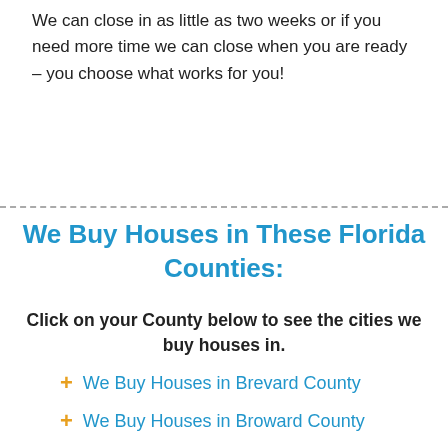We can close in as little as two weeks or if you need more time we can close when you are ready – you choose what works for you!
We Buy Houses in These Florida Counties:
Click on your County below to see the cities we buy houses in.
+ We Buy Houses in Brevard County
+ We Buy Houses in Broward County